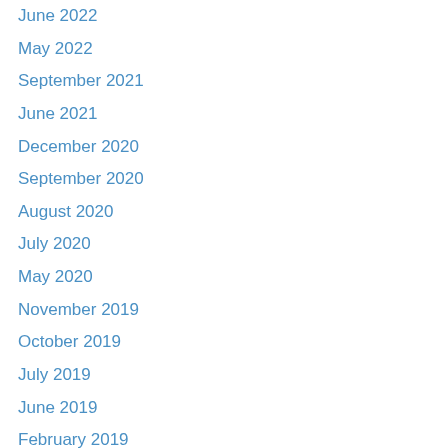June 2022
May 2022
September 2021
June 2021
December 2020
September 2020
August 2020
July 2020
May 2020
November 2019
October 2019
July 2019
June 2019
February 2019
January 2019
February 2015
December 2014
April 2014
December 2013
September 2013